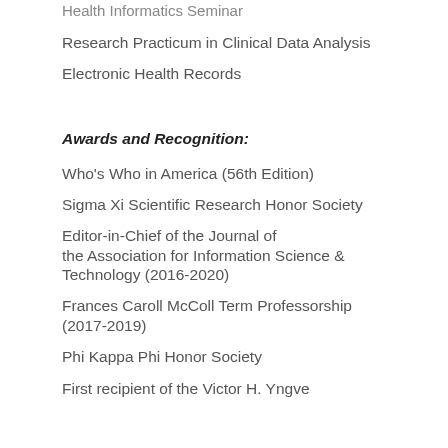Health Informatics Seminar
Research Practicum in Clinical Data Analysis
Electronic Health Records
Awards and Recognition:
Who's Who in America (56th Edition)
Sigma Xi Scientific Research Honor Society
Editor-in-Chief of the Journal of the Association for Information Science & Technology (2016-2020)
Frances Caroll McColl Term Professorship (2017-2019)
Phi Kappa Phi Honor Society
First recipient of the Victor H. Yngve